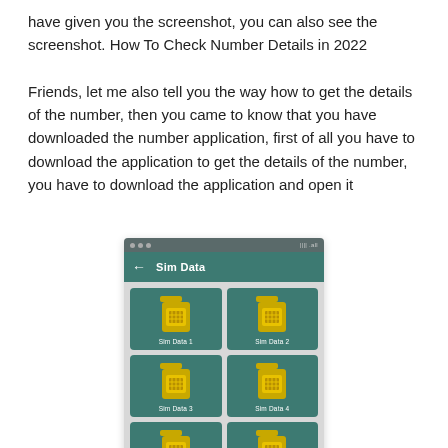have given you the screenshot, you can also see the screenshot. How To Check Number Details in 2022

Friends, let me also tell you the way how to get the details of the number, then you came to know that you have downloaded the number application, first of all you have to download the application to get the details of the number, you have to download the application and open it
[Figure (screenshot): Mobile app screenshot showing a 'Sim Data' screen with 6 SIM card icons arranged in a 2x3 grid, labeled Sim Data 1 through Sim Data 6, on a teal/green background with dark header bar.]